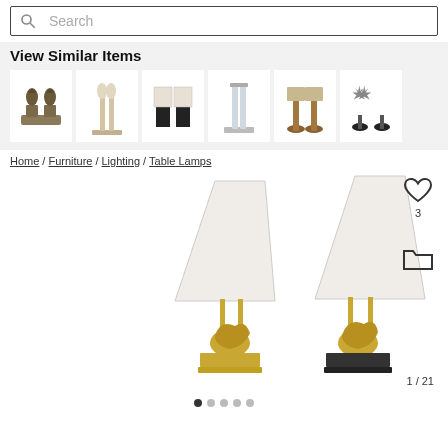[Figure (screenshot): Search bar with magnifying glass icon and placeholder text 'Search']
View Similar Items
[Figure (photo): Row of similar table lamp product thumbnails: chess piece lamps, candle-style lamps, black box lamps, crystal column lamps, brown base lamps, starburst/sunburst lamps]
Home / Furniture / Lighting / Table Lamps
[Figure (photo): Main product image of a pair of gold horse figurine table lamps with white rectangular shades on gold frames]
3
1 / 21